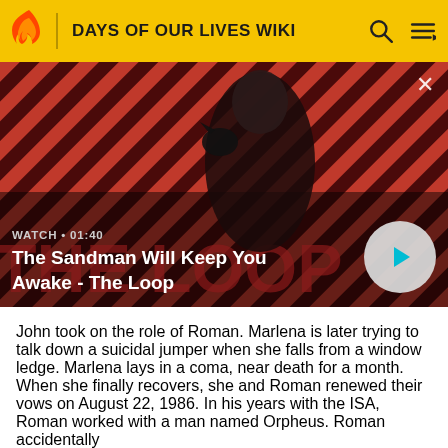DAYS OF OUR LIVES WIKI
[Figure (screenshot): Video thumbnail showing a dark-cloaked figure with a raven on their shoulder against a red and dark diagonal striped background. Text overlay shows 'WATCH • 01:40' and title 'The Sandman Will Keep You Awake - The Loop' with a play button on the right.]
John took on the role of Roman. Marlena is later trying to talk down a suicidal jumper when she falls from a window ledge. Marlena lays in a coma, near death for a month. When she finally recovers, she and Roman renewed their vows on August 22, 1986. In his years with the ISA, Roman worked with a man named Orpheus. Roman accidentally